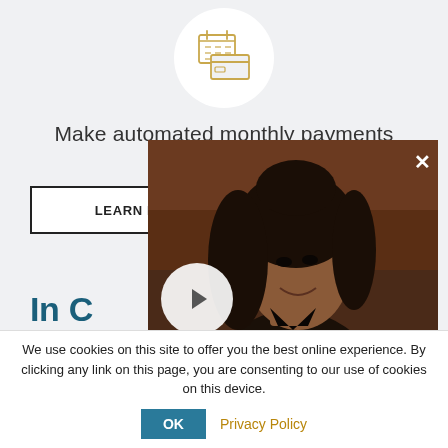[Figure (illustration): Calendar and credit card icon in a white circle on light gray background, outlined in golden/amber color]
Make automated monthly payments
LEARN MO...
[Figure (photo): Video overlay showing a man with long curly dark hair smiling, wearing a dark patterned shirt, with a play button circle overlay and a golden-brown bar at the bottom, and an X close button in the top right]
In C...
See how bus...
We use cookies on this site to offer you the best online experience. By clicking any link on this page, you are consenting to our use of cookies on this device.
OK   Privacy Policy